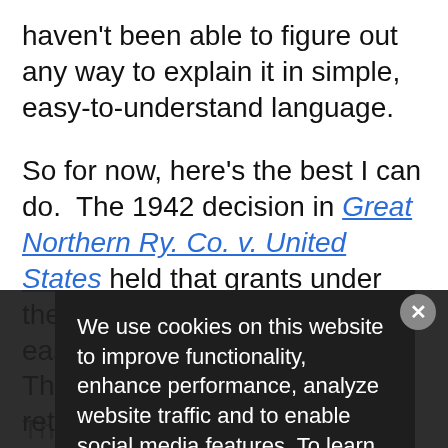haven't been able to figure out any way to explain it in simple, easy-to-understand language.
So for now, here's the best I can do.  The 1942 decision in Great Northern Ry. Co. v. United States held that grants under the 1875 Act qualified as easements, not fee interests.  Thus, the federal government retained a fee interest in the underlying property.  At some point, the government sold off those fee interests, which remained subject to the easements created under the Act.
We use cookies on this website to improve functionality, enhance performance, analyze website traffic and to enable social media features. To learn more, please see our Privacy Policy and our Terms & Conditions for additional detail.
The question then is what happens...